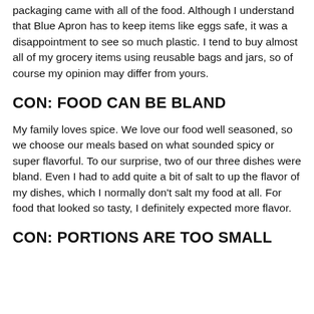packaging came with all of the food. Although I understand that Blue Apron has to keep items like eggs safe, it was a disappointment to see so much plastic. I tend to buy almost all of my grocery items using reusable bags and jars, so of course my opinion may differ from yours.
CON: FOOD CAN BE BLAND
My family loves spice. We love our food well seasoned, so we choose our meals based on what sounded spicy or super flavorful. To our surprise, two of our three dishes were bland. Even I had to add quite a bit of salt to up the flavor of my dishes, which I normally don't salt my food at all. For food that looked so tasty, I definitely expected more flavor.
CON: PORTIONS ARE TOO SMALL